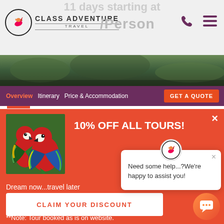Class Adventure Travel — 11 days starting at $2,350/Person
[Figure (screenshot): Screenshot of Class Adventure Travel website showing header with logo, navigation bar with Overview, Itinerary, Price & Accommodation links, GET A QUOTE button, and a red promotional popup with parrots image, 10% OFF ALL TOURS! heading, discount claim section, and a chat help popup widget.]
10% OFF ALL TOURS!
Dream now...travel later
No cancellation fees, le...
**Note: Tour booked as is on website.
Need some help...?We're happy to assist you!
CLAIM YOUR DISCOUNT